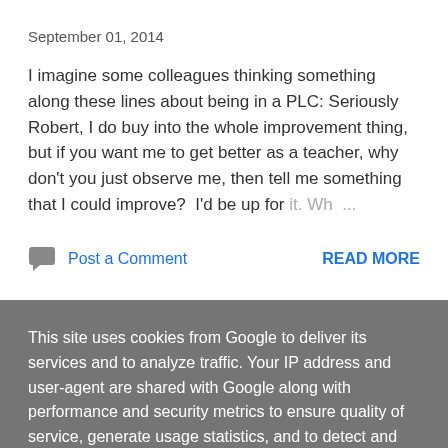September 01, 2014
I imagine some colleagues thinking something along these lines about being in a PLC: Seriously Robert, I do buy into the whole improvement thing, but if you want me to get better as a teacher, why don't you just observe me, then tell me something that I could improve?  I'd be up for it. Wh ...
Post a Comment
READ MORE
This site uses cookies from Google to deliver its services and to analyze traffic. Your IP address and user-agent are shared with Google along with performance and security metrics to ensure quality of service, generate usage statistics, and to detect and address abuse.
LEARN MORE
OK